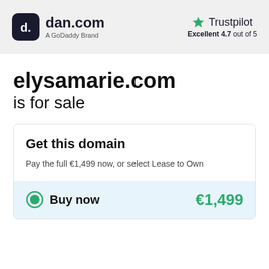[Figure (logo): dan.com logo with GoDaddy brand text and Trustpilot rating (Excellent 4.7 out of 5)]
elysamarie.com is for sale
Get this domain
Pay the full €1,499 now, or select Lease to Own
Buy now €1,499